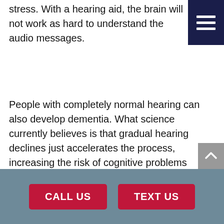stress. With a hearing aid, the brain will not work as hard to understand the audio messages.
People with completely normal hearing can also develop dementia. What science currently believes is that gradual hearing declines just accelerates the process, increasing the risk of cognitive problems and Alzheimer’s. The key to lowering that risk is comprehensive hearing exams to diagnose and treat age-related hearing loss before it can have an impact on brain health.
[Figure (other): Dark navy hamburger menu button with three white horizontal bars]
[Figure (other): Gray scroll-to-top button with upward chevron arrow]
CALL US
TEXT US